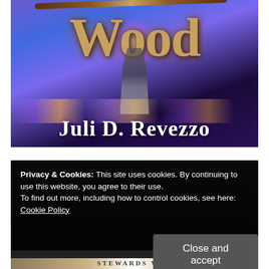[Figure (illustration): Book cover for 'Wood' by Juli D. Revezzo. Purple and blue fantasy background with glowing light, a staff/wand, a robed figure, and sparkles. Title 'Wood' in large wooden-textured letters at the top, author name 'Juli D. Revezzo' at the bottom.]
[Figure (illustration): Partial view of another book cover, partially obscured by a cookie consent banner. Bottom shows text 'Stewards War'.]
Privacy & Cookies: This site uses cookies. By continuing to use this website, you agree to their use.
To find out more, including how to control cookies, see here:
Cookie Policy
Close and accept
Stewards War